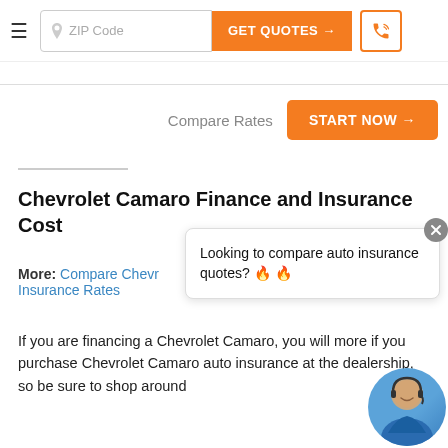ZIP Code | GET QUOTES → | [phone icon]
Compare Rates  START NOW →
Chevrolet Camaro Finance and Insurance Cost
More: Compare Chev... Insurance Rates
[Figure (other): Popup overlay with close button (X) and text: Looking to compare auto insurance quotes? 🔥 🔥, with agent photo (woman with headset)]
If you are financing a Chevrolet Camaro, you will more if you purchase Chevrolet Camaro auto insurance at the dealership, so be sure to shop around